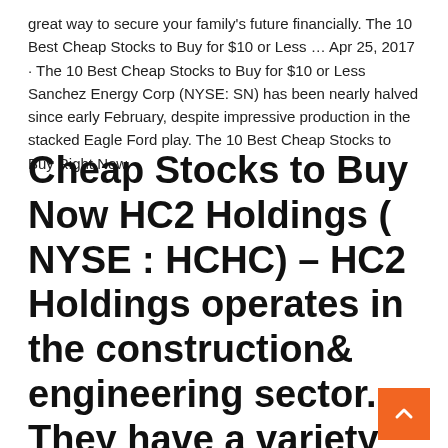great way to secure your family's future financially. The 10 Best Cheap Stocks to Buy for $10 or Less … Apr 25, 2017 · The 10 Best Cheap Stocks to Buy for $10 or Less Sanchez Energy Corp (NYSE: SN) has been nearly halved since early February, despite impressive production in the stacked Eagle Ford play. The 10 Best Cheap Stocks to Buy Right Now
Cheap Stocks to Buy Now HC2 Holdings ( NYSE : HCHC) – HC2 Holdings operates in the construction& engineering sector. They have a variety of revenue streams that come from construction,